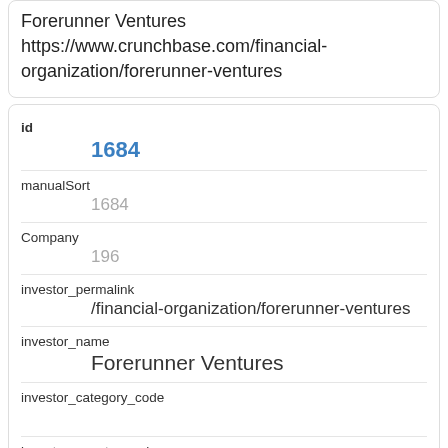Forerunner Ventures
https://www.crunchbase.com/financial-organization/forerunner-ventures
| Field | Value |
| --- | --- |
| id | 1684 |
| manualSort | 1684 |
| Company | 196 |
| investor_permalink | /financial-organization/forerunner-ventures |
| investor_name | Forerunner Ventures |
| investor_category_code |  |
| investor_country_code | USA |
| investor_state_code | CA |
| investor_region |  |